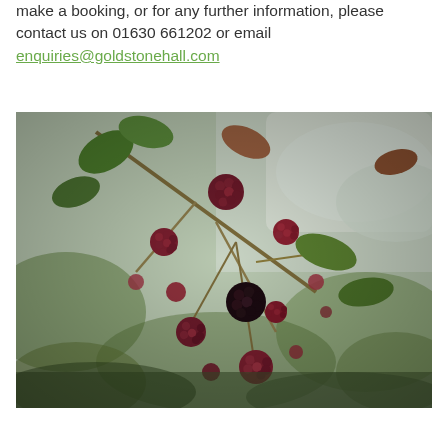make a booking, or for any further information, please contact us on 01630 661202 or email enquiries@goldstonehall.com
[Figure (photo): Close-up photograph of blackberries on a branch with green and russet leaves, blurred background of greenery and overcast sky.]